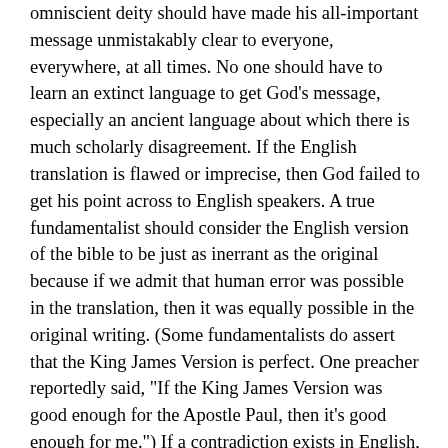omniscient deity should have made his all-important message unmistakably clear to everyone, everywhere, at all times. No one should have to learn an extinct language to get God's message, especially an ancient language about which there is much scholarly disagreement. If the English translation is flawed or imprecise, then God failed to get his point across to English speakers. A true fundamentalist should consider the English version of the bible to be just as inerrant as the original because if we admit that human error was possible in the translation, then it was equally possible in the original writing. (Some fundamentalists do assert that the King James Version is perfect. One preacher reportedly said, "If the King James Version was good enough for the Apostle Paul, then it's good enough for me.") If a contradiction exists in English, then the bible is contradictory.
The above list of thirty-three contradictions is a very